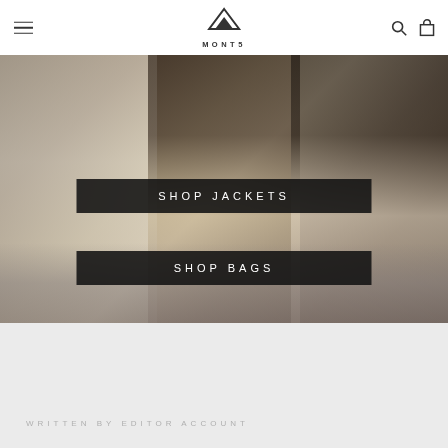MONT5 navigation header with menu, logo, search and cart icons
[Figure (photo): Fashion photo of elegantly dressed people carrying bags near an airplane, overlaid with two dark buttons labelled SHOP JACKETS and SHOP BAGS]
WRITTEN BY EDITOR ACCOUNT